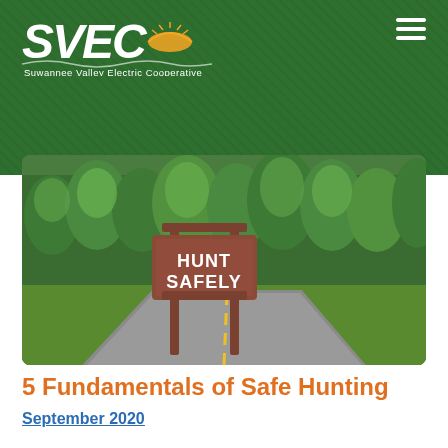[Figure (logo): SVEC Suwannee Valley Electric Cooperative logo in white on green background]
[Figure (photo): A brown wooden 'HUNT SAFELY' sign beside a road with green trees in the background]
5 Fundamentals of Safe Hunting
September 2020